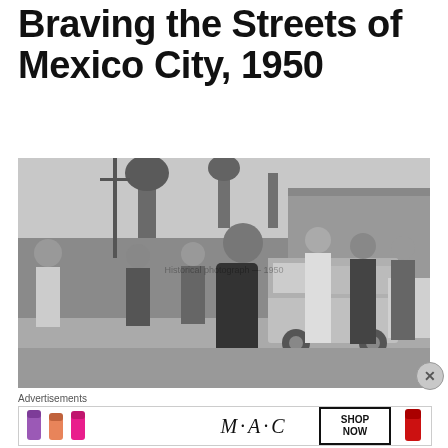Five Shots of a Woman Braving the Streets of Mexico City, 1950
[Figure (photo): Black and white photograph from 1950 showing a woman in a fitted dark dress walking along a street in Mexico City, with several men in the background staring at her, and a vintage truck visible behind them.]
Advertisements
[Figure (photo): MAC Cosmetics advertisement showing colorful lipsticks (purple, coral, pink) on the left, MAC logo in the center, a SHOP NOW box, and a red lipstick on the right.]